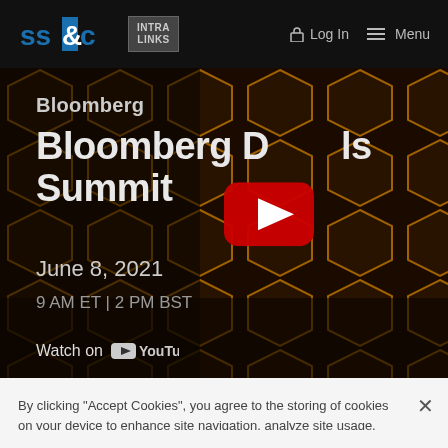SS&C Intralinks | Log In | Menu
[Figure (screenshot): Bloomberg Deals Summit event promotional video thumbnail with hexagonal gold/black background. Shows text: Bloomberg, Bloomberg Deals Summit, June 8, 2021, 9 AM ET | 2 PM BST, Watch on YouTube. YouTube play button overlay visible.]
By clicking "Accept Cookies", you agree to the storing of cookies on your device to enhance site navigation, analyze site usage, and assist in our marketing efforts.